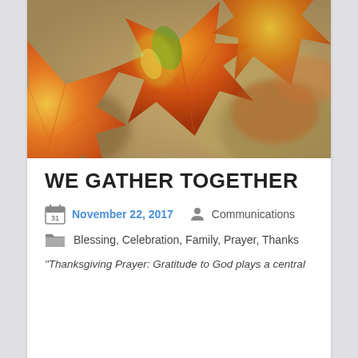[Figure (photo): Close-up photo of autumn maple leaves in shades of orange, red, yellow, and green, with a blurred background of fallen leaves]
WE GATHER TOGETHER
November 22, 2017   Communications
Blessing, Celebration, Family, Prayer, Thanks
“Thanksgiving Prayer: Gratitude to God plays a central